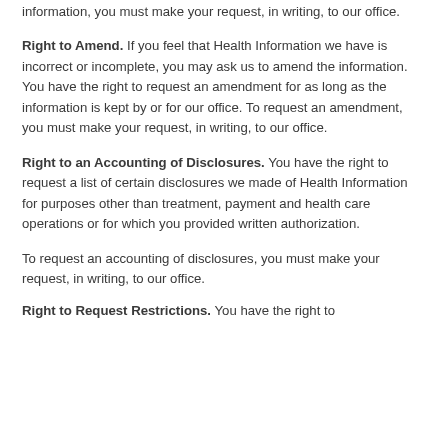information, you must make your request, in writing, to our office.
Right to Amend. If you feel that Health Information we have is incorrect or incomplete, you may ask us to amend the information. You have the right to request an amendment for as long as the information is kept by or for our office. To request an amendment, you must make your request, in writing, to our office.
Right to an Accounting of Disclosures. You have the right to request a list of certain disclosures we made of Health Information for purposes other than treatment, payment and health care operations or for which you provided written authorization.
To request an accounting of disclosures, you must make your request, in writing, to our office.
Right to Request Restrictions. You have the right to